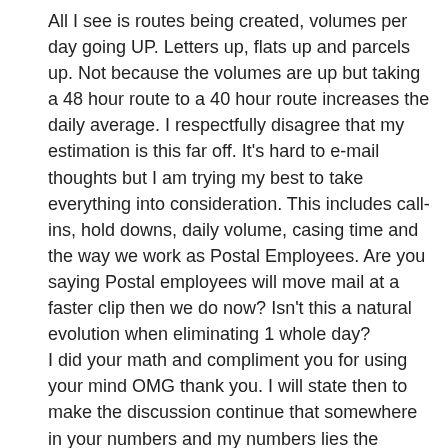All I see is routes being created, volumes per day going UP. Letters up, flats up and parcels up. Not because the volumes are up but taking a 48 hour route to a 40 hour route increases the daily average. I respectfully disagree that my estimation is this far off. It's hard to e-mail thoughts but I am trying my best to take everything into consideration. This includes call-ins, hold downs, daily volume, casing time and the way we work as Postal Employees. Are you saying Postal employees will move mail at a faster clip then we do now? Isn't this a natural evolution when eliminating 1 whole day?
I did your math and compliment you for using your mind OMG thank you. I will state then to make the discussion continue that somewhere in your numbers and my numbers lies the answer. Throw in our fraternal brotherhood–some who are the laziest piles of dog doo-doo I have ever witnessed–the attitudes of the dregs–those in the middle and the rest of us that give a hoot and we will have some